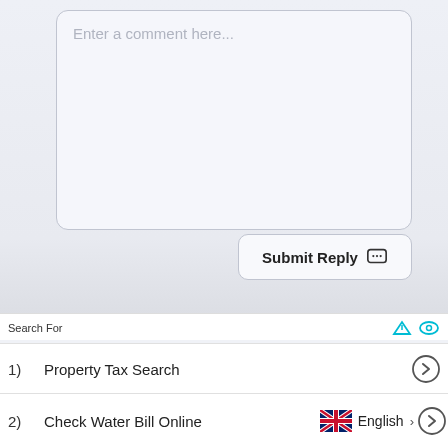[Figure (screenshot): Comment text area input box with placeholder text 'Enter a comment here...' and a 'Submit Reply' button with chat icon]
Search For
1)    Property Tax Search
2)    Check Water Bill Online
English